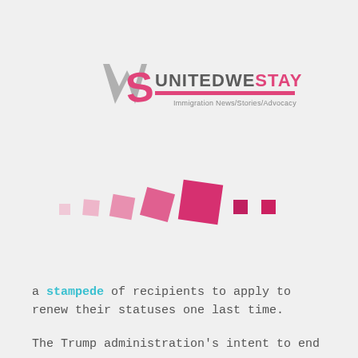[Figure (logo): United We Stay logo with stylized 'USW' letters and tagline 'Immigration News/Stories/Advocacy']
[Figure (illustration): Decorative row of pink/magenta squares of varying sizes arranged diagonally]
a stampede of recipients to apply to renew their statuses one last time.
The Trump administration's intent to end